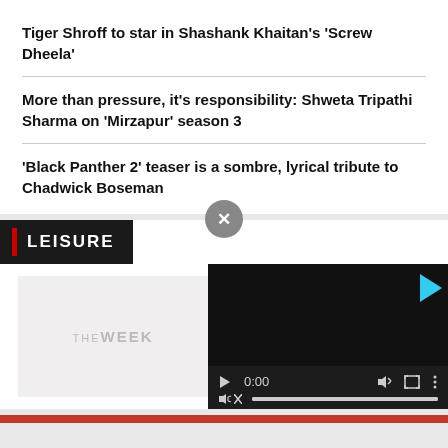Tiger Shroff to star in Shashank Khaitan's 'Screw Dheela'
More than pressure, it's responsibility: Shweta Tripathi Sharma on 'Mirzapur' season 3
'Black Panther 2' teaser is a sombre, lyrical tribute to Chadwick Boseman
LEISURE
[Figure (screenshot): Video player with black background showing 0:00 timestamp, play button, volume, fullscreen, and menu controls. A muted speaker icon with progress bar below.]
[Figure (logo): THE WEEK logo in light gray on a white/light background thumbnail area]